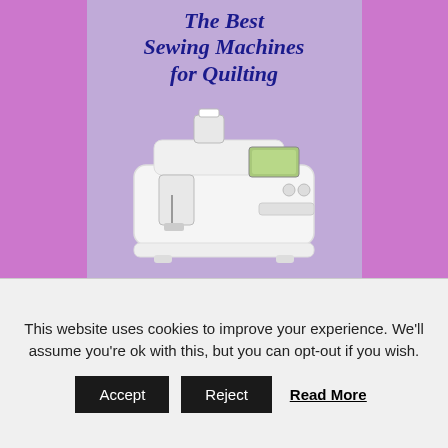[Figure (illustration): A white sewing machine on a light purple background with bold italic navy text reading 'The Best Sewing Machines for Quilting']
Fabric Cutting Made Easy!
[Figure (illustration): Colorful illustration with balloon animals/shapes and teal handwritten-style text reading 'Fabric Cutting Made Ea...']
This website uses cookies to improve your experience. We'll assume you're ok with this, but you can opt-out if you wish.
Accept  Reject  Read More